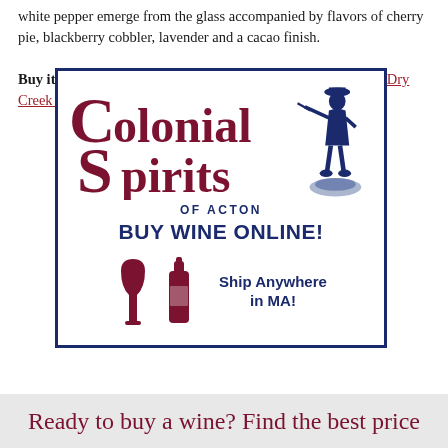white pepper emerge from the glass accompanied by flavors of cherry pie, blackberry cobbler, lavender and a cacao finish.
Buy it: Use 1000 Corks to find stores that sell Rock Wall 2016 Dry Creek Zinfandel.
[Figure (logo): Colonial Spirits of Acton advertisement. Logo with large styled text 'Colonial Spirits' in dark red/maroon with a colonial minuteman soldier silhouette in dark blue on the right. Below: 'OF ACTON' in blue, 'BUY WINE ONLINE!' in bold blue, and 'Ship Anywhere in MA!' with wine glass and bottle icons in maroon. All enclosed in a blue border.]
Ready to buy a wine? Find the best price